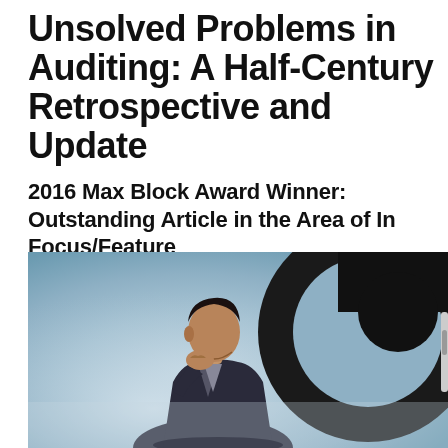Unsolved Problems in Auditing: A Half-Century Retrospective and Update
2016 Max Block Award Winner: Outstanding Article in the Area of In Focus/Feature
[Figure (photo): A man in a dark suit sitting in a thoughtful pose with his hand on his chin, against a misty blue background with a large dark circular shape behind him.]